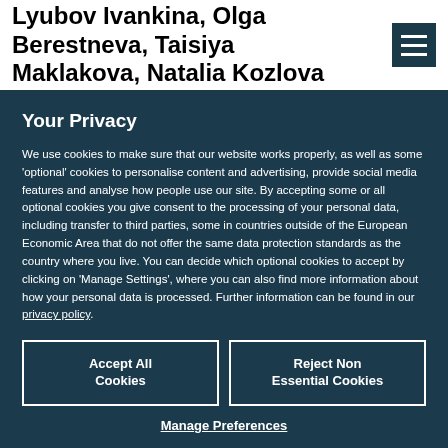Lyubov Ivankina, Olga Berestneva, Taisiya Maklakova, Natalia Kozlova
Your Privacy
We use cookies to make sure that our website works properly, as well as some 'optional' cookies to personalise content and advertising, provide social media features and analyse how people use our site. By accepting some or all optional cookies you give consent to the processing of your personal data, including transfer to third parties, some in countries outside of the European Economic Area that do not offer the same data protection standards as the country where you live. You can decide which optional cookies to accept by clicking on 'Manage Settings', where you can also find more information about how your personal data is processed. Further information can be found in our privacy policy.
Accept All Cookies
Reject Non Essential Cookies
Manage Preferences